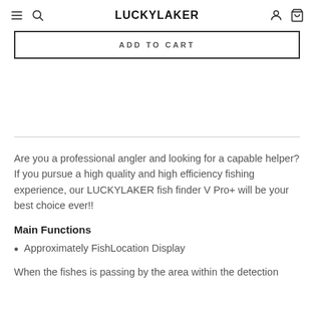LUCKYLAKER
ADD TO CART
Are you a professional angler and looking for a capable helper? If you pursue a high quality and high efficiency fishing experience, our LUCKYLAKER fish finder V Pro+ will be your best choice ever!!
Main Functions
Approximately FishLocation Display
When the fishes is passing by the area within the detection